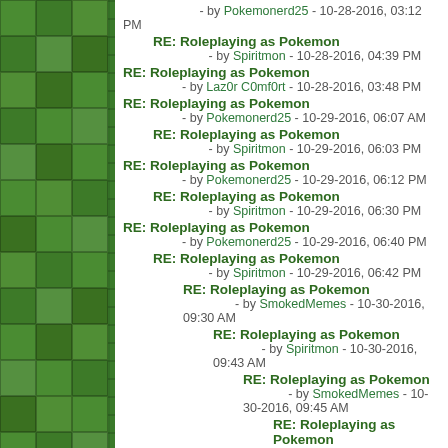RE: Roleplaying as Pokemon - by Pokemonerd25 - 10-28-2016, 03:12 PM
RE: Roleplaying as Pokemon - by Spiritmon - 10-28-2016, 04:39 PM
RE: Roleplaying as Pokemon - by Laz0r C0mf0rt - 10-28-2016, 03:48 PM
RE: Roleplaying as Pokemon - by Pokemonerd25 - 10-29-2016, 06:07 AM
RE: Roleplaying as Pokemon - by Spiritmon - 10-29-2016, 06:03 PM
RE: Roleplaying as Pokemon - by Pokemonerd25 - 10-29-2016, 06:12 PM
RE: Roleplaying as Pokemon - by Spiritmon - 10-29-2016, 06:30 PM
RE: Roleplaying as Pokemon - by Pokemonerd25 - 10-29-2016, 06:40 PM
RE: Roleplaying as Pokemon - by Spiritmon - 10-29-2016, 06:42 PM
RE: Roleplaying as Pokemon - by SmokedMemes - 10-30-2016, 09:30 AM
RE: Roleplaying as Pokemon - by Spiritmon - 10-30-2016, 09:43 AM
RE: Roleplaying as Pokemon - by SmokedMemes - 10-30-2016, 09:45 AM
RE: Roleplaying as Pokemon - by Spiritmon - 10-30-2016, 09:52 AM
RE: Roleplaying as Pokemon - by SmokedMemes - 10-30-2016, 10:20 AM